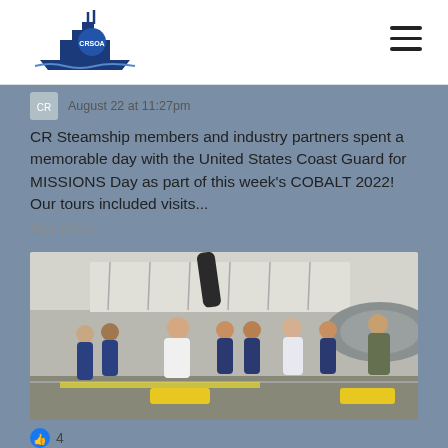CRSOA logo and navigation menu
August 22 at 11:27pm
CR Steamship members and industry partners spent a memorable day with the United States Coast Guard for MISSIONS Day as part of this week's COBALT 2022! Our tours included visits... See more
[Figure (photo): Group of people including Coast Guard personnel in uniform and civilians standing in a hangar next to a large aircraft, receiving a tour briefing from a man in an olive flight suit.]
4